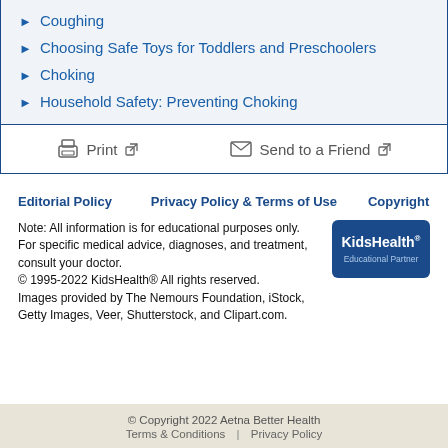Coughing
Choosing Safe Toys for Toddlers and Preschoolers
Choking
Household Safety: Preventing Choking
Print   Send to a Friend
Editorial Policy   Privacy Policy & Terms of Use   Copyright
Note: All information is for educational purposes only. For specific medical advice, diagnoses, and treatment, consult your doctor.
© 1995-2022 KidsHealth® All rights reserved.
Images provided by The Nemours Foundation, iStock, Getty Images, Veer, Shutterstock, and Clipart.com.
[Figure (logo): KidsHealth Educational Partner logo — dark blue rounded rectangle with white KidsHealth text and light blue Educational Partner text]
© Copyright 2022 Aetna Better Health
Terms & Conditions | Privacy Policy